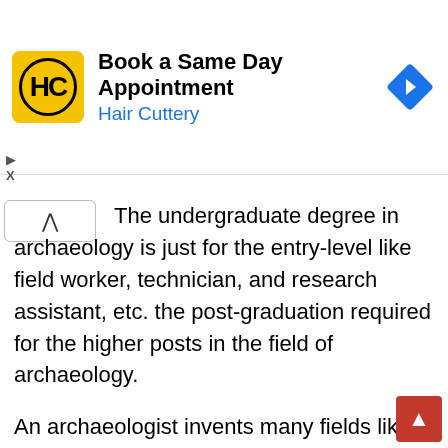[Figure (screenshot): Advertisement banner for Hair Cuttery: yellow logo with HC initials, text 'Book a Same Day Appointment' and 'Hair Cuttery' in blue, blue diamond navigation arrow icon on right]
The undergraduate degree in archaeology is just for the entry-level like field worker, technician, and research assistant, etc. the post-graduation required for the higher posts in the field of archaeology.
An archaeologist invents many fields like analysis of an artifact, determine the age of the object by radiocarbon dating, and provide information about underwater pieces of evidence. He focuses on the relationship